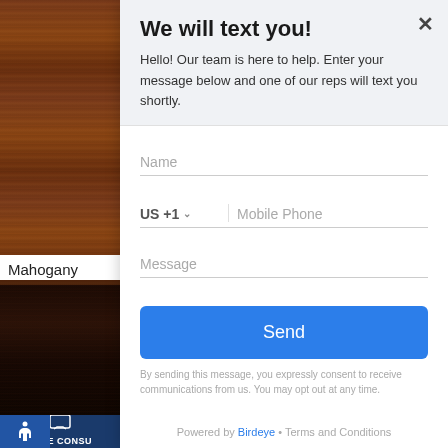[Figure (photo): Wood texture sidebar showing reddish-brown mahogany wood grain at top and dark brown/black wood at bottom]
Mahogany
We will text you!
Hello! Our team is here to help. Enter your message below and one of our reps will text you shortly.
Name
US +1   Mobile Phone
Message
Send
By sending this message, you expressly consent to receive communications from us. You may opt out at any time.
Powered by Birdeye • Terms and Conditions